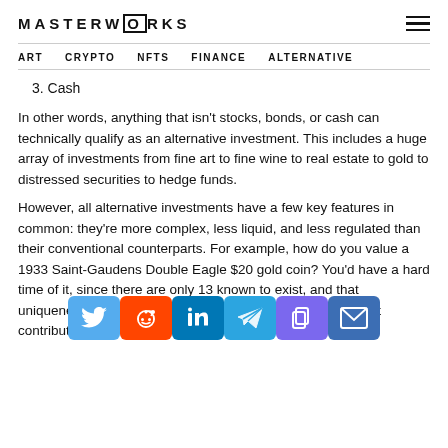MASTERWORKS
ART   CRYPTO   NFTS   FINANCE   ALTERNATIVE
3. Cash
In other words, anything that isn't stocks, bonds, or cash can technically qualify as an alternative investment. This includes a huge array of investments from fine art to fine wine to real estate to gold to distressed securities to hedge funds.
However, all alternative investments have a few key features in common: they're more complex, less liquid, and less regulated than their conventional counterparts. For example, how do you value a 1933 Saint-Gaudens Double Eagle $20 gold coin? You'd have a hard time of it, since there are only 13 known to exist, and that uniqueness and valuation difficulty are common features that contribute to